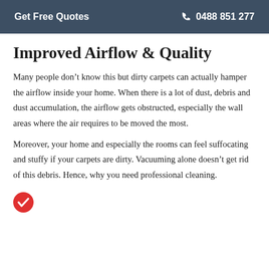Get Free Quotes   📞 0488 851 277
Improved Airflow & Quality
Many people don't know this but dirty carpets can actually hamper the airflow inside your home. When there is a lot of dust, debris and dust accumulation, the airflow gets obstructed, especially the wall areas where the air requires to be moved the most.
Moreover, your home and especially the rooms can feel suffocating and stuffy if your carpets are dirty. Vacuuming alone doesn't get rid of this debris. Hence, why you need professional cleaning.
[Figure (other): Red circular badge with white checkmark icon]